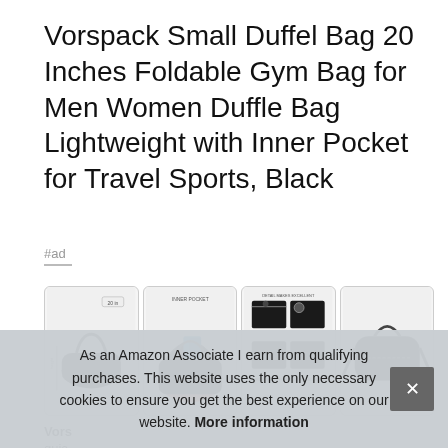Vorspack Small Duffel Bag 20 Inches Foldable Gym Bag for Men Women Duffle Bag Lightweight with Inner Pocket for Travel Sports, Black
#ad
[Figure (photo): Four product thumbnail images of a black duffel bag showing different angles and features: full bag view with dimensions, inner pocket detail, detail marks excellent with durable zippers and solid metal buckle, and side/strap view.]
Vors
quic
As an Amazon Associate I earn from qualifying purchases. This website uses the only necessary cookies to ensure you get the best experience on our website. More information